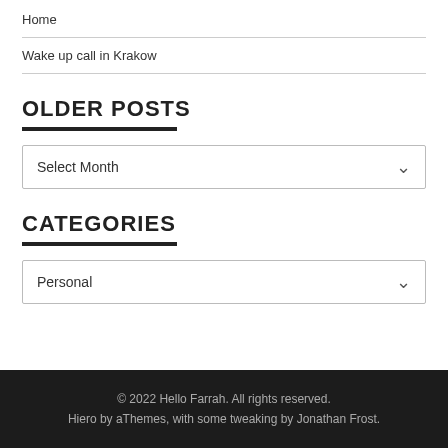Home
Wake up call in Krakow
OLDER POSTS
Select Month
CATEGORIES
Personal
© 2022 Hello Farrah. All rights reserved.
Hiero by aThemes, with some tweaking by Jonathan Frost.